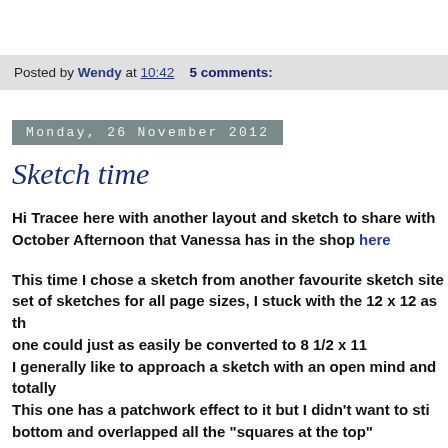Posted by Wendy at 10:42   5 comments:
Monday, 26 November 2012
Sketch time
Hi Tracee here with another layout and sketch to share with October Afternoon that Vanessa has in the shop here
This time I chose a sketch from another favourite sketch site set of sketches for all page sizes, I stuck with the 12 x 12 as th one could just as easily be converted to 8 1/2 x 11
I generally like to approach a sketch with an open mind and totally
This one has a patchwork effect to it but I didn't want to sti bottom and overlapped all the "squares at the top"
So while you can't see the pattern of the sketch so much you